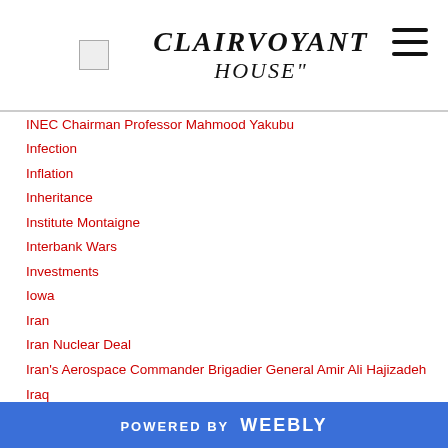CLAIRVOYANT HOUSE
INEC Chairman Professor Mahmood Yakubu
Infection
Inflation
Inheritance
Institute Montaigne
Interbank Wars
Investments
Iowa
Iran
Iran Nuclear Deal
Iran's Aerospace Commander Brigadier General Amir Ali Hajizadeh
Iraq
Ireland
Irina Bokova (UNESCO Director General
POWERED BY weebly